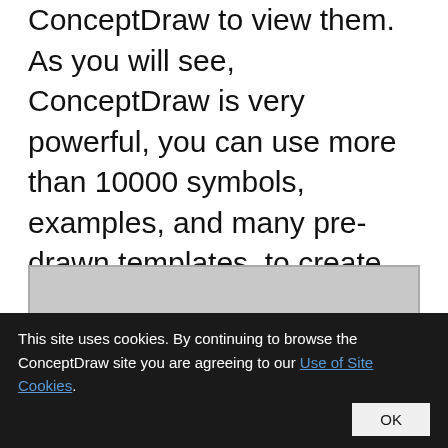ConceptDraw to view them. As you will see, ConceptDraw is very powerful, you can use more than 10000 symbols, examples, and many pre-drawn templates, to create your own spectacular flowcharts, business diagrams, network diagrams and lots more, effortlessly, and in no time at all.
[Figure (screenshot): A screenshot or image area with a light gray background, showing a faint arc or shadow near the bottom center.]
This site uses cookies. By continuing to browse the ConceptDraw site you are agreeing to our Use of Site Cookies.